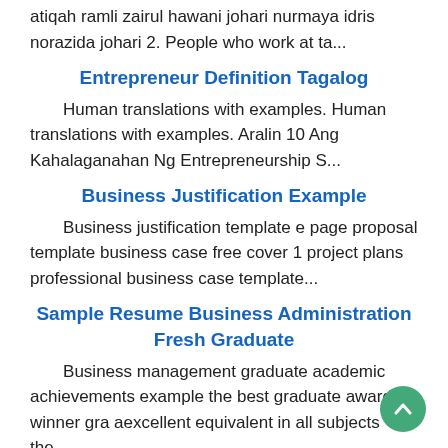atiqah ramli zairul hawani johari nurmaya idris norazida johari 2. People who work at ta...
Entrepreneur Definition Tagalog
Human translations with examples. Human translations with examples. Aralin 10 Ang Kahalaganahan Ng Entrepreneurship S...
Business Justification Example
Business justification template e page proposal template business case free cover 1 project plans professional business case template...
Sample Resume Business Administration Fresh Graduate
Business management graduate academic achievements example the best graduate award winner gra aexcellent equivalent in all subjects the...